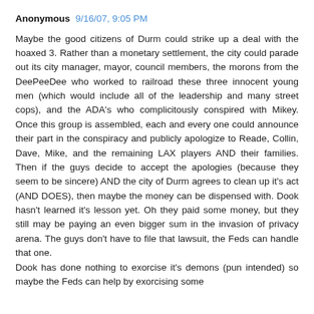Anonymous 9/16/07, 9:05 PM
Maybe the good citizens of Durm could strike up a deal with the hoaxed 3. Rather than a monetary settlement, the city could parade out its city manager, mayor, council members, the morons from the DeePeeDee who worked to railroad these three innocent young men (which would include all of the leadership and many street cops), and the ADA's who complicitously conspired with Mikey. Once this group is assembled, each and every one could announce their part in the conspiracy and publicly apologize to Reade, Collin, Dave, Mike, and the remaining LAX players AND their families. Then if the guys decide to accept the apologies (because they seem to be sincere) AND the city of Durm agrees to clean up it's act (AND DOES), then maybe the money can be dispensed with. Dook hasn't learned it's lesson yet. Oh they paid some money, but they still may be paying an even bigger sum in the invasion of privacy arena. The guys don't have to file that lawsuit, the Feds can handle that one.
Dook has done nothing to exorcise it's demons (pun intended) so maybe the Feds can help by exorcising some